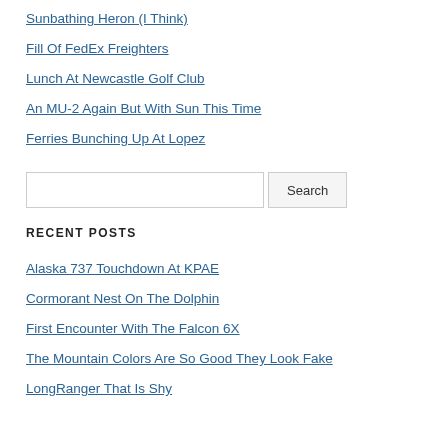Sunbathing Heron (I Think)
Fill Of FedEx Freighters
Lunch At Newcastle Golf Club
An MU-2 Again But With Sun This Time
Ferries Bunching Up At Lopez
[Search input and Search button]
RECENT POSTS
Alaska 737 Touchdown At KPAE
Cormorant Nest On The Dolphin
First Encounter With The Falcon 6X
The Mountain Colors Are So Good They Look Fake
LongRanger That Is Shy